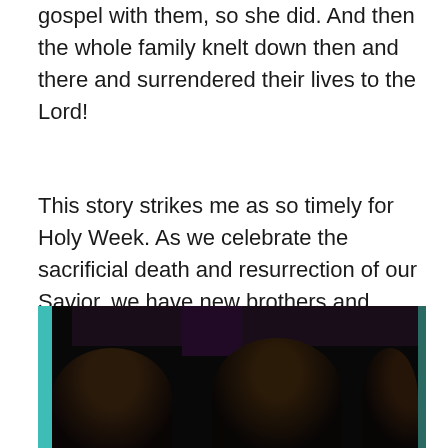gospel with them, so she did. And then the whole family knelt down then and there and surrendered their lives to the Lord!
This story strikes me as so timely for Holy Week. As we celebrate the sacrificial death and resurrection of our Savior, we have new brothers and sisters with whom to celebrate. In a faraway corner of one of the poorest neighborhoods in the Amazon Jungle, eight new souls have been born again. Jesus is receiving the reward of His suffering!
[Figure (photo): Dark photograph showing children standing in front of a door or wall with teal/turquoise painted trim. The image is dimly lit with mostly dark tones and silhouettes of multiple children visible.]